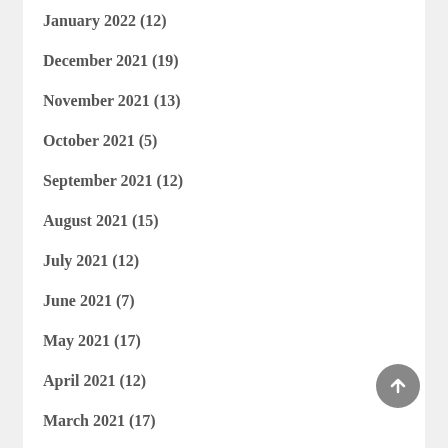January 2022 (12)
December 2021 (19)
November 2021 (13)
October 2021 (5)
September 2021 (12)
August 2021 (15)
July 2021 (12)
June 2021 (7)
May 2021 (17)
April 2021 (12)
March 2021 (17)
February 2021 (13)
January 2021 (21)